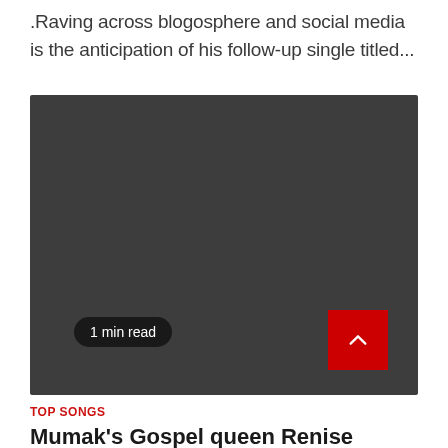.Raving across blogosphere and social media is the anticipation of his follow-up single titled...
[Figure (photo): Dark grey/black image placeholder with a '1 min read' badge at the bottom left and a red scroll-to-top button at the bottom right]
TOP SONGS
Mumak's Gospel queen Renise